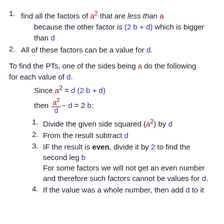find all the factors of a² that are less than a because the other factor is (2 b + d) which is bigger than d
All of these factors can be a value for d.
To find the PTs, one of the sides being a do the following for each value of d.
Since a² = d (2 b + d)
Divide the given side squared (a²) by d
From the result subtract d
IF the result is even, divide it by 2 to find the second leg b. For some factors we will not get an even number and therefore such factors cannot be values for d.
If the value was a whole number, then add d to it